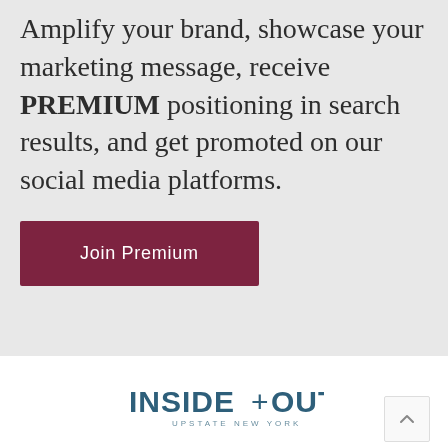Amplify your brand, showcase your marketing message, receive PREMIUM positioning in search results, and get promoted on our social media platforms.
Join Premium
[Figure (logo): INSIDE+OUT UPSTATE NEW YORK logo in teal/dark blue]
© 2022 Inside + Out Upstate NY
Privacy Policy